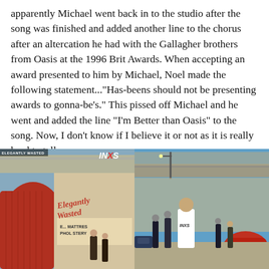apparently Michael went back in to the studio after the song was finished and added another line to the chorus after an altercation he had with the Gallagher brothers from Oasis at the 1996 Brit Awards. When accepting an award presented to him by Michael, Noel made the following statement..."Has-beens should not be presenting awards to gonna-be's." This pissed off Michael and he went and added the line “I’m Better than Oasis” to the song. Now, I don’t know if I believe it or not as it is really hard to tell.
[Figure (photo): INXS Elegantly Wasted album cover — red corrugated structure, people standing outside a mattress and upholstery shop, with 'Elegantly Wasted' text overlay and INXS logo top right.]
[Figure (photo): Photo of a woman in a white INXS t-shirt shielding her eyes in front of a red overturned car and an elevated highway, blue sky background, other people standing around.]